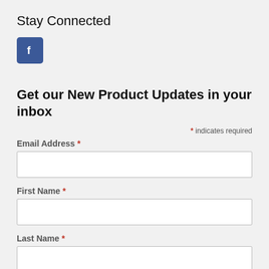Stay Connected
[Figure (logo): Facebook icon button — blue rounded square with white lowercase f]
Get our New Product Updates in your inbox
* indicates required
Email Address *
First Name *
Last Name *